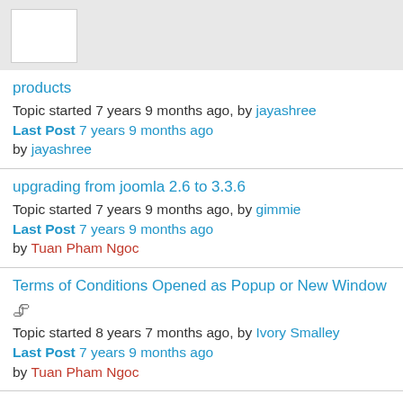products
Topic started 7 years 9 months ago, by jayashree
Last Post 7 years 9 months ago
by jayashree
upgrading from joomla 2.6 to 3.3.6
Topic started 7 years 9 months ago, by gimmie
Last Post 7 years 9 months ago
by Tuan Pham Ngoc
Terms of Conditions Opened as Popup or New Window
Topic started 8 years 7 months ago, by Ivory Smalley
Last Post 7 years 9 months ago
by Tuan Pham Ngoc
Replacing the word Documents with Books